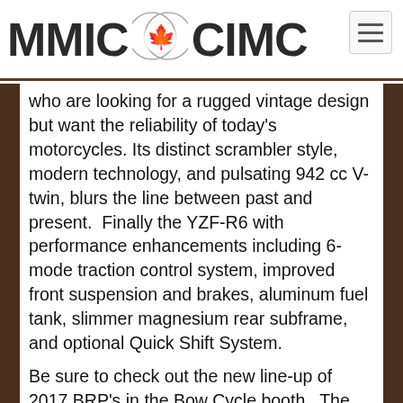[Figure (logo): MMIC CIMC logo with Canadian maple leaf emblem between the two text segments, and a hamburger menu button in the top right corner]
who are looking for a rugged vintage design but want the reliability of today's motorcycles. Its distinct scrambler style, modern technology, and pulsating 942 cc V-twin, blurs the line between past and present.  Finally the YZF-R6 with performance enhancements including 6-mode traction control system, improved front suspension and brakes, aluminum fuel tank, slimmer magnesium rear subframe, and optional Quick Shift System.
Be sure to check out the new line-up of 2017 BRP's in the Bow Cycle booth.  The Can-Am Spyder family has been expanded offering a F3 for everyone.  The F3 Limited  s designed for